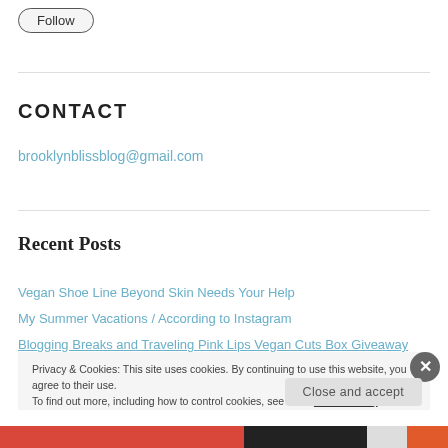[Figure (other): Follow button — rounded pill-shaped button with label 'Follow']
CONTACT
brooklynblissblog@gmail.com
Recent Posts
Vegan Shoe Line Beyond Skin Needs Your Help
My Summer Vacations / According to Instagram
Blogging Breaks and Traveling Pink Lips Vegan Cuts Box Giveaway
Privacy & Cookies: This site uses cookies. By continuing to use this website, you agree to their use. To find out more, including how to control cookies, see here: Cookie Policy
Close and accept